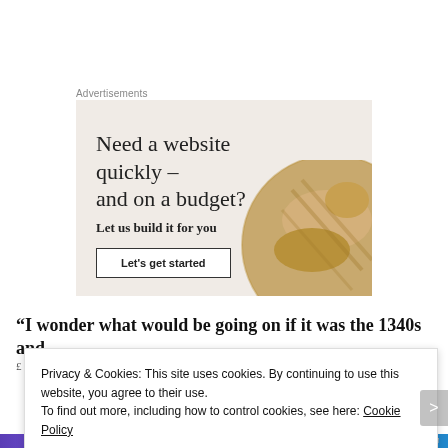Advertisements
[Figure (illustration): Advertisement banner with beige background. Headline: 'Need a website quickly – and on a budget?' Subtext: 'Let us build it for you'. Button: 'Let's get started'. Decorative circular image of a dog on the right side.]
“I wonder what would be going on if it was the 1340s and
Privacy & Cookies: This site uses cookies. By continuing to use this website, you agree to their use. To find out more, including how to control cookies, see here: Cookie Policy
Close and accept